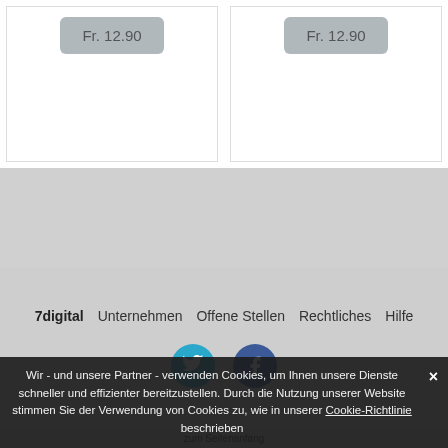[Figure (screenshot): Two product cards each showing price button Fr. 12.90 on white background]
7digital  Unternehmen  Offene Stellen  Rechtliches  Hilfe
[Figure (illustration): Twitter and Facebook circular social media icons]
zum Seitenanfang
Wir - und unsere Partner - verwenden Cookies, um Ihnen unsere Dienste schneller und effizienter bereitzustellen. Durch die Nutzung unserer Website stimmen Sie der Verwendung von Cookies zu, wie in unserer Cookie-Richtlinie beschrieben